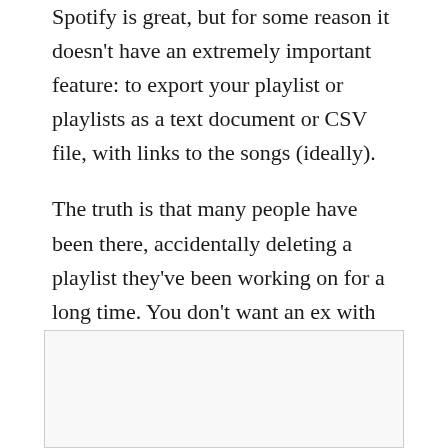Spotify is great, but for some reason it doesn't have an extremely important feature: to export your playlist or playlists as a text document or CSV file, with links to the songs (ideally).
The truth is that many people have been there, accidentally deleting a playlist they've been working on for a long time. You don't want an ex with bad intentions or a child to delete your playlists… or maybe you want to have your favorite tunes available on other services.
[Figure (other): Empty or partially visible image/screenshot box at the bottom of the page]